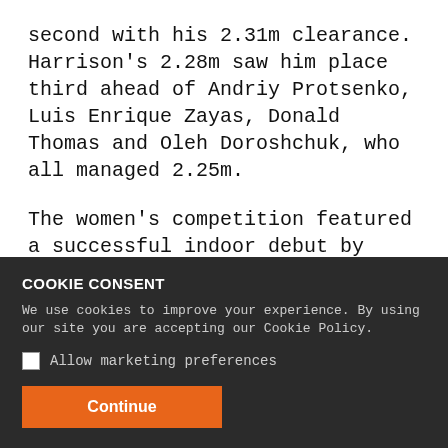second with his 2.31m clearance. Harrison's 2.28m saw him place third ahead of Andriy Protsenko, Luis Enrique Zayas, Donald Thomas and Oleh Doroshchuk, who all managed 2.25m.
The women's competition featured a successful indoor debut by Patterson, who cleared a world-leading 1.99m to break the Oceania indoor record.
In her first ever indoor contest, the 25-year-old matched the height of her outdoor PB to win ahead of Olympic and
COOKIE CONSENT
We use cookies to improve your experience. By using our site you are accepting our Cookie Policy.
Allow marketing preferences
Continue